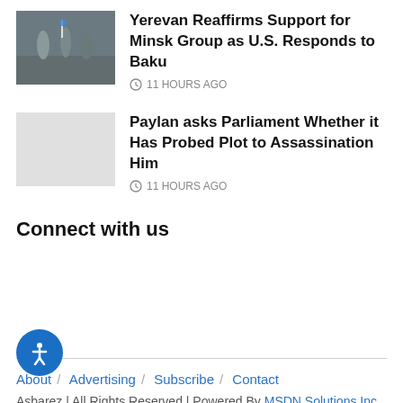[Figure (photo): Thumbnail photo of soldiers or military personnel in a field, one holding a flag]
Yerevan Reaffirms Support for Minsk Group as U.S. Responds to Baku
11 HOURS AGO
[Figure (photo): Blank/grey thumbnail placeholder]
Paylan asks Parliament Whether it Has Probed Plot to Assassination Him
11 HOURS AGO
Connect with us
About / Advertising / Subscribe / Contact
Asbarez | All Rights Reserved | Powered By MSDN Solutions Inc.